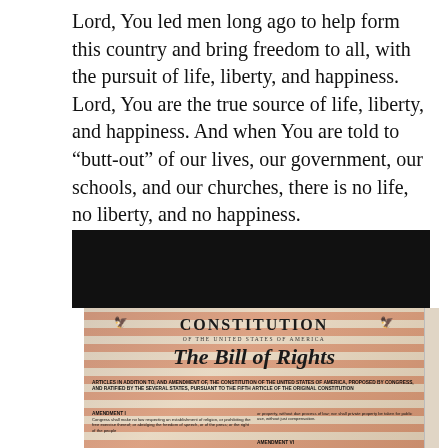Lord, You led men long ago to help form this country and bring freedom to all, with the pursuit of life, liberty, and happiness. Lord, You are the true source of life, liberty, and happiness. And when You are told to “butt-out” of our lives, our government, our schools, and our churches, there is no life, no liberty, and no happiness.
[Figure (other): Black rectangular bar (redacted/censored image area)]
[Figure (illustration): Constitution of the United States of America - The Bill of Rights decorative document image with American flag in background. Shows title 'CONSTITUTION OF THE UNITED STATES OF AMERICA', 'The Bill of Rights' in ornate script, articles text, Amendment I and Amendment VI text.]